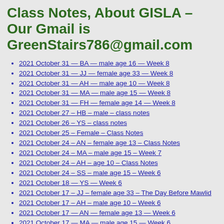Class Notes, About GISLA – Our Gmail is GreenStairs786@gmail.com
2021 October 31 — BA — male age 16 — Week 8
2021 October 31 — JJ — female age 33 — Week 8
2021 October 31 — AH — male age 10 — Week 8
2021 October 31 — MA — male age 15 — Week 8
2021 October 31 — FH — female age 14 — Week 8
2021 October 27 – HB – male – class notes
2021 October 26 – YS – class notes
2021 October 25 – Female – Class Notes
2021 October 24 – AN – female age 13 – Class Notes
2021 October 24 – MA – male age 15 – Week 7
2021 October 24 – AH – age 10 – Class Notes
2021 October 24 – SS – male age 15 – Week 6
2021 October 18 — YS — Week 6
2021 October 17 – JJ – female age 33 – The Day Before Mawlid
2021 October 17 – AH – male age 10 – Week 6
2021 October 17 — AN — female age 13 — Week 6
2021 October 17 — MA — male age 15 — Week 6
2021 October 17 — BA — age 16 — Week 6
2021 October 10 — FH — female age 14 — Week 5
2021 October 10 — AH — male age 10 — Week 5
2021 October 10 — AH — male age 16 — Week 5
2021 October 10 — BA — male age 16 — Week 5
2021 October 10 — HL — male age 16 — Week 5
2021 October 10 — JJ — female age 33 — Week 5
2021 October 10 — MA — male age 15 — Week 5